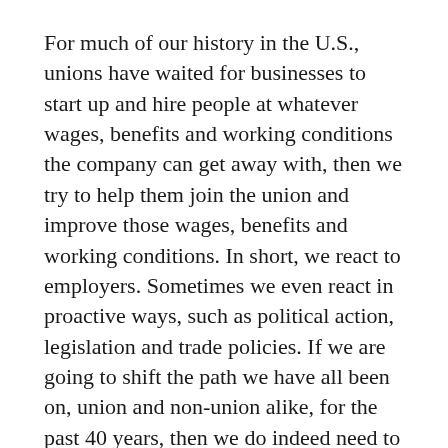For much of our history in the U.S., unions have waited for businesses to start up and hire people at whatever wages, benefits and working conditions the company can get away with, then we try to help them join the union and improve those wages, benefits and working conditions. In short, we react to employers. Sometimes we even react in proactive ways, such as political action, legislation and trade policies. If we are going to shift the path we have all been on, union and non-union alike, for the past 40 years, then we do indeed need to change the paradigm, and that is to start creating our own jobs.
Let's get to the heart of the matter: the whole point of organizing, for the union, is the...